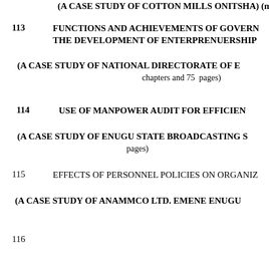(A CASE STUDY OF COTTON MILLS ONITSHA) (m
113    FUNCTIONS AND ACHIEVEMENTS OF GOVERN THE DEVELOPMENT OF ENTERPRENUERSHIP
(A CASE STUDY OF NATIONAL DIRECTORATE OF E chapters and 75 pages)
114    USE OF MANPOWER AUDIT FOR EFFICIEN
(A CASE STUDY OF ENUGU STATE BROADCASTING S pages)
115    EFFECTS OF PERSONNEL POLICIES ON ORGANIZ
(A CASE STUDY OF ANAMMCO LTD. EMENE ENUGU
116